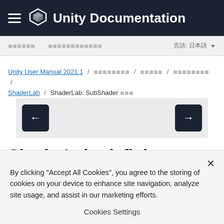Unity Documentation
マニュアル / スクリプトリファレンス / 言語: 日本語
Unity User Manual 2021.1 / グラフィックス / シェーダー / ShaderLab リファレンス / ShaderLab / ShaderLab: SubShader タグ
[Figure (other): Navigation buttons: left arrow and right arrow]
ShaderLab: defining a
By clicking "Accept All Cookies", you agree to the storing of cookies on your device to enhance site navigation, analyze site usage, and assist in our marketing efforts.
Cookies Settings